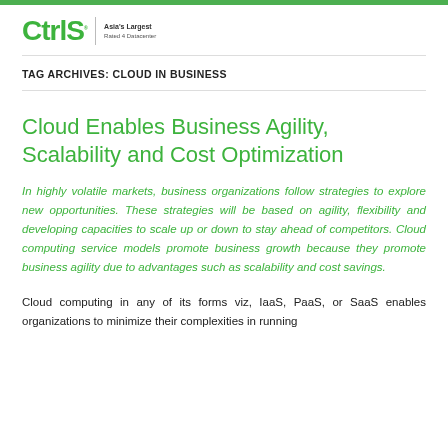CtrlS | Asia's Largest Rated 4 Datacenter
TAG ARCHIVES: CLOUD IN BUSINESS
Cloud Enables Business Agility, Scalability and Cost Optimization
In highly volatile markets, business organizations follow strategies to explore new opportunities. These strategies will be based on agility, flexibility and developing capacities to scale up or down to stay ahead of competitors. Cloud computing service models promote business growth because they promote business agility due to advantages such as scalability and cost savings.
Cloud computing in any of its forms viz, IaaS, PaaS, or SaaS enables organizations to minimize their complexities in running